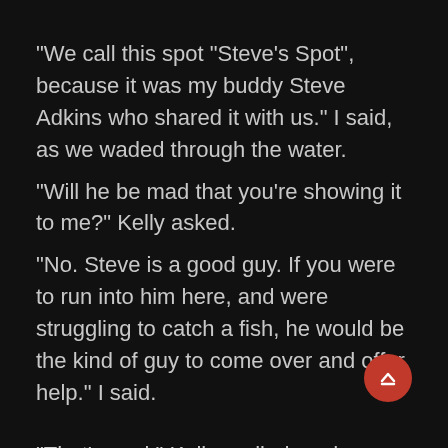“We call this spot “Steve’s Spot”, because it was my buddy Steve Adkins who shared it with us.” I said, as we waded through the water.
“Will he be mad that you’re showing it to me?” Kelly asked.
“No. Steve is a good guy. If you were to run into him here, and were struggling to catch a fish, he would be the kind of guy to come over and offer help.” I said.
“That’s cool.” Kelly replied, and we began to fish.